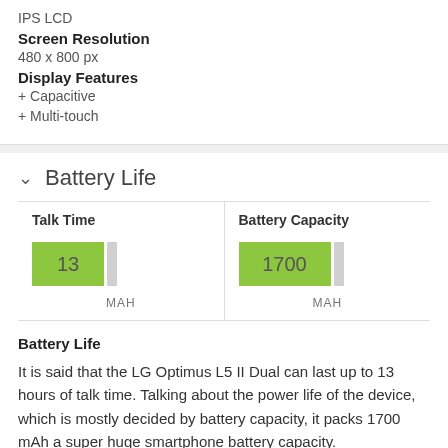IPS LCD
Screen Resolution
480 x 800 px
Display Features
+ Capacitive
+ Multi-touch
Battery Life
[Figure (bar-chart): Talk Time]
[Figure (bar-chart): Battery Capacity]
Battery Life
It is said that the LG Optimus L5 II Dual can last up to 13 hours of talk time. Talking about the power life of the device, which is mostly decided by battery capacity, it packs 1700 mAh a super huge smartphone battery capacity.